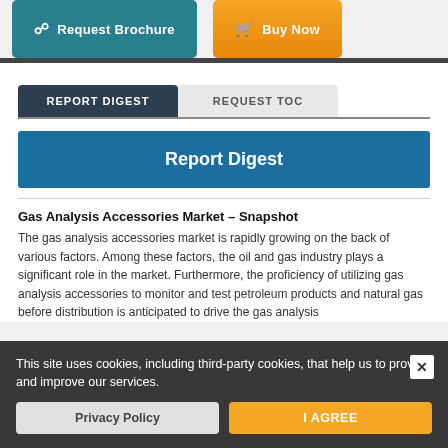Request Brochure | Buy Now
REPORT DIGEST | REQUEST TOC
Report Digest
Gas Analysis Accessories Market – Snapshot
The gas analysis accessories market is rapidly growing on the back of various factors. Among these factors, the oil and gas industry plays a significant role in the market. Furthermore, proficiency of utilizing gas analysis accessories to monitor and test petroleum products and natural gas before distribution is anticipated to drive the gas analysis accessories market.
This site uses cookies, including third-party cookies, that help us to provide and improve our services.